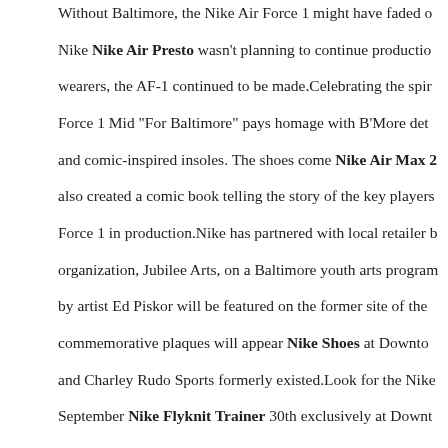Without Baltimore, the Nike Air Force 1 might have faded out. Nike Nike Air Presto wasn't planning to continue production. Because of those wearers, the AF-1 continued to be made. Celebrating the spirit of the Air Force 1 Mid "For Baltimore" pays homage with B'More details and comic-inspired insoles. The shoes come Nike Air Max 2 also created a comic book telling the story of the key players keeping Air Force 1 in production. Nike has partnered with local retailer and organization, Jubilee Arts, on a Baltimore youth arts program. A mural by artist Ed Piskor will be featured on the former site of the commemorative plaques will appear Nike Shoes at Downtown and Charley Rudo Sports formerly existed. Look for the Nike September Nike Flyknit Trainer 30th exclusively at Downtown Monument Street in Baltimore. The Nike Vandal High originally debuted during the 1980s and is now viewed more as a lifestyle silhouette in modern day. John June, followed by Nike Air Max 2017 a VLONE Collection light of day since Nike dropped VLONE. But today, we get w the original colorway with a surprise release. Featuring a Me straps and leather Nike Swoosh branding Nike Air Max Th